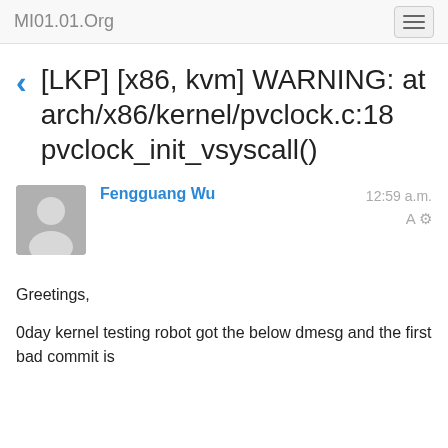MI01.01.Org
[LKP] [x86, kvm] WARNING: at arch/x86/kernel/pvclock.c:18 pvclock_init_vsyscall()
Fengguang Wu  12:59 a.m.
Greetings,
0day kernel testing robot got the below dmesg and the first bad commit is